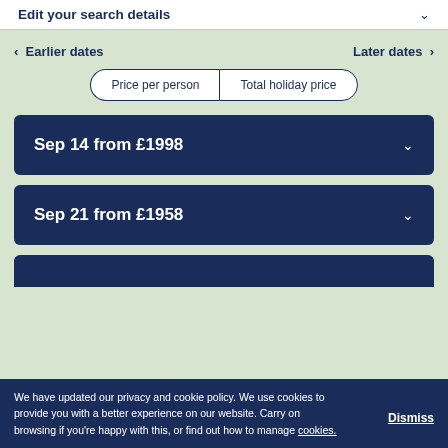Edit your search details
Earlier dates | Later dates
Price per person | Total holiday price
Sep 14 from £1998
Sep 21 from £1958
We have updated our privacy and cookie policy. We use cookies to provide you with a better experience on our website. Carry on browsing if you're happy with this, or find out how to manage cookies.
Dismiss